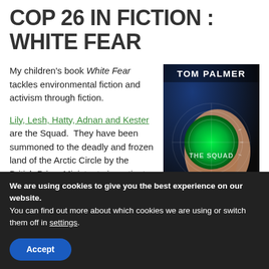COP 26 IN FICTION : WHITE FEAR
My children's book White Fear tackles environmental fiction and activism through fiction.
Lily, Lesh, Hatty, Adnan and Kester are the Squad.  They have been summoned to the deadly and frozen land of the Arctic Circle by the British Prime Minister to investigate...
[Figure (photo): Book cover of White Fear by Tom Palmer showing a person holding a glowing green globe with radar circles and the text THE SQUAD]
We are using cookies to give you the best experience on our website.
You can find out more about which cookies we are using or switch them off in settings.
Accept